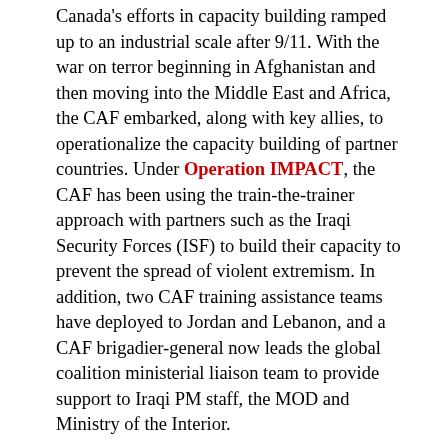Canada's efforts in capacity building ramped up to an industrial scale after 9/11. With the war on terror beginning in Afghanistan and then moving into the Middle East and Africa, the CAF embarked, along with key allies, to operationalize the capacity building of partner countries. Under Operation IMPACT, the CAF has been using the train-the-trainer approach with partners such as the Iraqi Security Forces (ISF) to build their capacity to prevent the spread of violent extremism. In addition, two CAF training assistance teams have deployed to Jordan and Lebanon, and a CAF brigadier-general now leads the global coalition ministerial liaison team to provide support to Iraqi PM staff, the MOD and Ministry of the Interior.
Finally, under Operation UNIFIER, the CAF has built upon the groundwork established under the auspices of MTAP/MTCP since 1993, to further enhance the capacity and reform of the Ukrainian armed forces. Projects such the Lithuanian-Polish-Ukrainian Brigade had their antecedents in the late 1990s with the establishment of the Maple Arch series of exercises. Whereas MTCP's efforts continue to build capacity in professionally